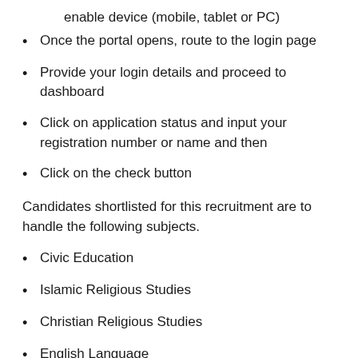enable device (mobile, tablet or PC)
Once the portal opens, route to the login page
Provide your login details and proceed to dashboard
Click on application status and input your registration number or name and then
Click on the check button
Candidates shortlisted for this recruitment are to handle the following subjects.
Civic Education
Islamic Religious Studies
Christian Religious Studies
English Language